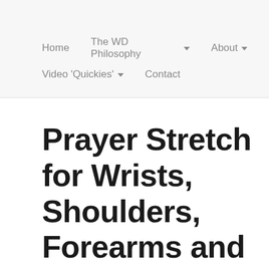Home | The WD Philosophy ▾ | About ▾ | Video 'Quickies' ▾ | Contact
Prayer Stretch for Wrists, Shoulders, Forearms and Upper Back